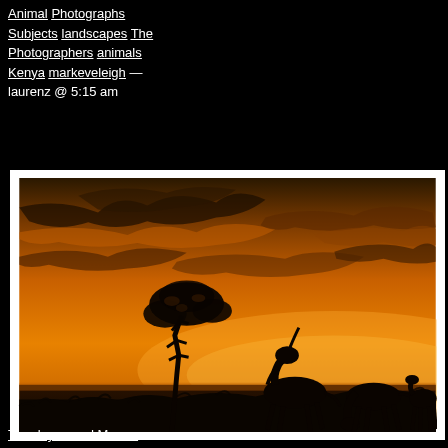Animal Photographs Subjects landscapes The Photographers animals Kenya markeveleigh — laurenz @ 5:15 am
[Figure (photo): African savanna sunset silhouette: an acacia tree and three large animals (eland/wildebeest) silhouetted against a deep golden-orange sky with clouds.]
Thank you and More...